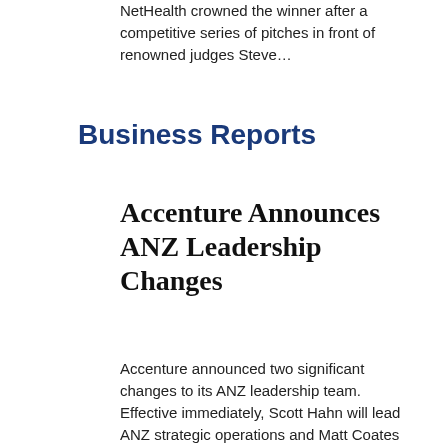NetHealth crowned the winner after a competitive series of pitches in front of renowned judges Steve…
Business Reports
Accenture Announces ANZ Leadership Changes
Accenture announced two significant changes to its ANZ leadership team. Effective immediately, Scott Hahn will lead ANZ strategic operations and Matt Coates will succeed Scott as ANZ